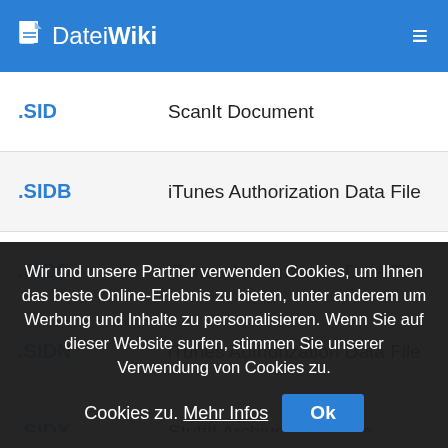DateiWiki
| Extension | Description |
| --- | --- |
| .SID | ScanIt Document |
| .SIDB | iTunes Authorization Data File |
| .SIDD | iTunes Authorization Data File |
| .SIDN | iTunes Authorization Data File |
| .SIDX | StuffIt Archive Index File |
| .SIF | Synfig Studio Project |
| .SIFZ | Synfig Studio Compressed Project |
Wir und unsere Partner verwenden Cookies, um Ihnen das beste Online-Erlebnis zu bieten, unter anderem um Werbung und Inhalte zu personalisieren. Wenn Sie auf dieser Website surfen, stimmen Sie unserer Verwendung von Cookies zu. Mehr Infos